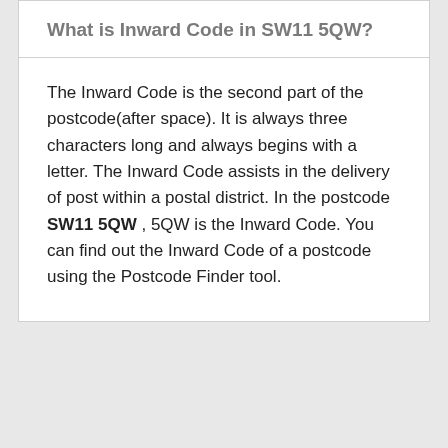What is Inward Code in SW11 5QW?
The Inward Code is the second part of the postcode(after space). It is always three characters long and always begins with a letter. The Inward Code assists in the delivery of post within a postal district. In the postcode SW11 5QW , 5QW is the Inward Code. You can find out the Inward Code of a postcode using the Postcode Finder tool.